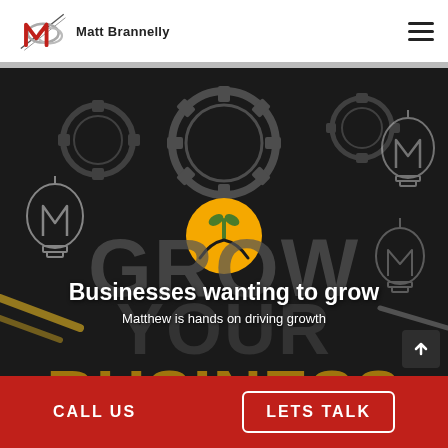[Figure (logo): Matt Brannelly logo with red stylized M and feather/pen mark, with text 'Matt Brannelly' below]
[Figure (illustration): Dark chalkboard-style image with gears, lightbulbs with M logos, 'GROW YOUR BUSINESS' text in large letters, and a yellow circle with hands holding a plant in the O of GROW]
Businesses wanting to grow
Matthew is hands on driving growth
CALL US
LETS TALK